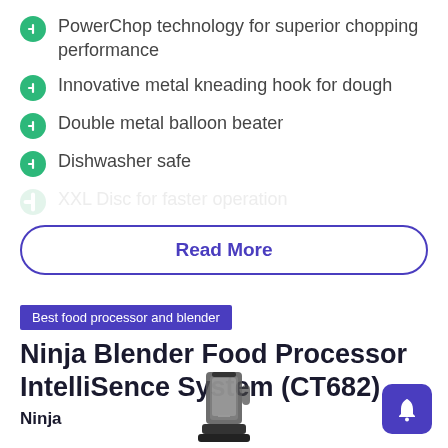PowerChop technology for superior chopping performance
Innovative metal kneading hook for dough
Double metal balloon beater
Dishwasher safe
XXL Disc for faster operation
Read More
Best food processor and blender
Ninja Blender Food Processor IntelliSence System (CT682)
Ninja
[Figure (photo): Photo of a Ninja blender food processor (CT682), showing the blender jar and blade assembly from the front]